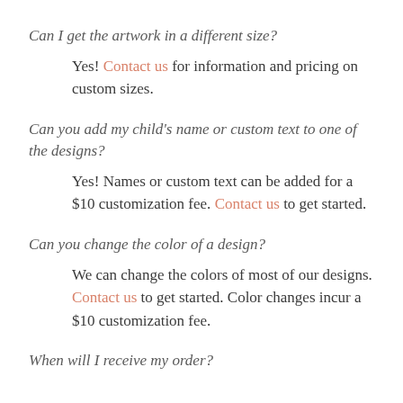Can I get the artwork in a different size?
Yes! Contact us for information and pricing on custom sizes.
Can you add my child's name or custom text to one of the designs?
Yes! Names or custom text can be added for a $10 customization fee. Contact us to get started.
Can you change the color of a design?
We can change the colors of most of our designs. Contact us to get started. Color changes incur a $10 customization fee.
When will I receive my order?